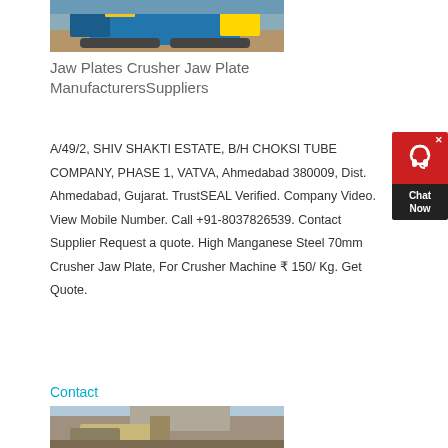[Figure (photo): Photo of a jaw crusher machine (blue) on rocky ground, partially visible at top of page]
Jaw Plates Crusher Jaw Plate ManufacturersSuppliers
A/49/2, SHIV SHAKTI ESTATE, B/H CHOKSI TUBE COMPANY, PHASE 1, VATVA, Ahmedabad 380009, Dist. Ahmedabad, Gujarat. TrustSEAL Verified. Company Video. View Mobile Number. Call +91-8037826539. Contact Supplier Request a quote. High Manganese Steel 70mm Crusher Jaw Plate, For Crusher Machine ₹ 150/ Kg. Get Quote.
[Figure (other): Chat Now widget with red top and dark bottom, headset icon]
Contact
[Figure (photo): Photo of a jaw crusher machine at a quarry/mining site, partially visible at bottom of page]